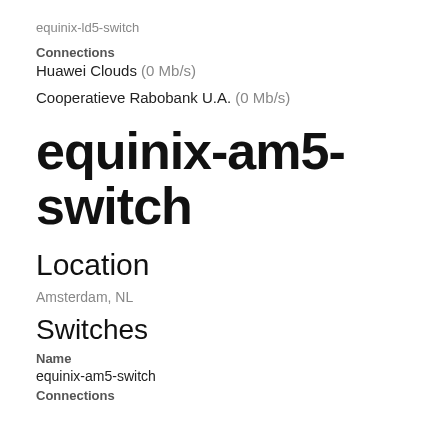equinix-ld5-switch
Connections
Huawei Clouds (0 Mb/s)
Cooperatieve Rabobank U.A. (0 Mb/s)
equinix-am5-switch
Location
Amsterdam, NL
Switches
Name
equinix-am5-switch
Connections